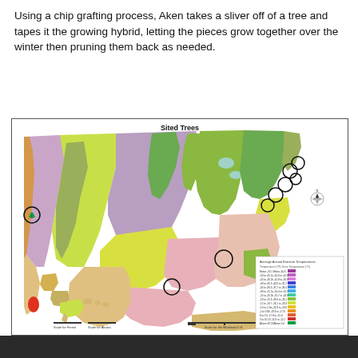Using a chip grafting process, Aken takes a sliver off of a tree and tapes it the growing hybrid, letting the pieces grow together over the winter then pruning them back as needed.
[Figure (map): USDA Plant Hardiness Zone map of the United States titled 'Sited Trees', showing climate zones in various colors (purple, green, yellow, orange, pink, red, tan/beige) across the contiguous US, Alaska, and Hawaii. Multiple black circles mark specific tree site locations, concentrated in the northeastern US, with one on the west coast (California), one in the central south, and one in the mid-south. A legend appears in the lower right corner. Compass rose visible in upper right of map area.]